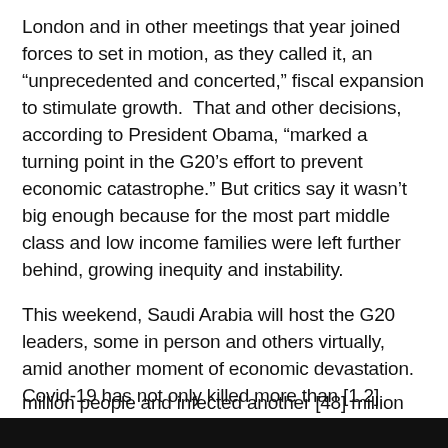London and in other meetings that year joined forces to set in motion, as they called it, an “unprecedented and concerted,” fiscal expansion to stimulate growth.  That and other decisions, according to President Obama, “marked a turning point in the G20’s effort to prevent economic catastrophe.” But critics say it wasn’t big enough because for the most part middle class and low income families were left further behind, growing inequity and instability.
This weekend, Saudi Arabia will host the G20 leaders, some in person and others virtually, amid another moment of economic devastation. Covid-19 has not only killed more than [1.2] million people and infected another [48] million